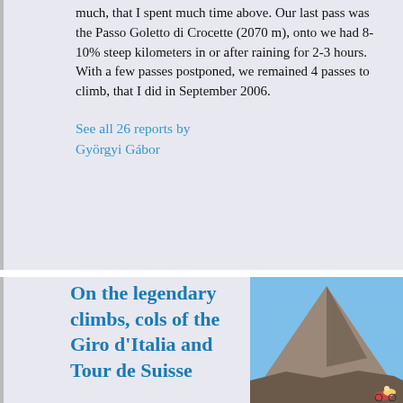much, that I spent much time above. Our last pass was the Passo Goletto di Crocette (2070 m), onto we had 8-10% steep kilometers in or after raining for 2-3 hours. With a few passes postponed, we remained 4 passes to climb, that I did in September 2006.
See all 26 reports by Györgyi Gábor
On the legendary climbs, cols of the Giro d'Italia and Tour de Suisse
[Figure (photo): Outdoor mountain landscape photo showing a large brownish rocky mountain peak under a clear blue sky, with a cyclist visible at the bottom right carrying gear.]